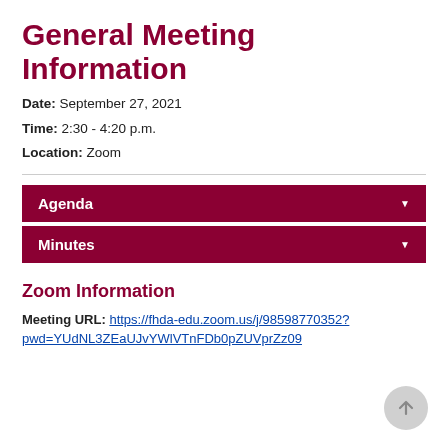General Meeting Information
Date: September 27, 2021
Time: 2:30 - 4:20 p.m.
Location: Zoom
Agenda
Minutes
Zoom Information
Meeting URL: https://fhda-edu.zoom.us/j/98598770352?pwd=YUdNL3ZEaUJvYWlVTnFDb0pZUVprZz09